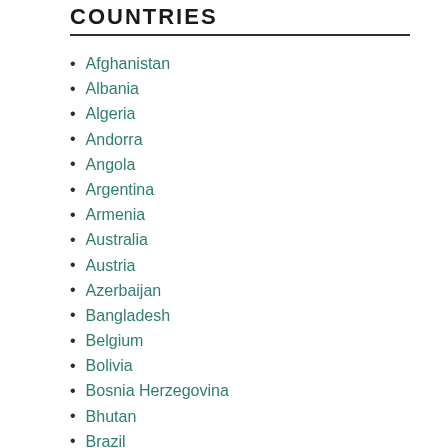COUNTRIES
Afghanistan
Albania
Algeria
Andorra
Angola
Argentina
Armenia
Australia
Austria
Azerbaijan
Bangladesh
Belgium
Bolivia
Bosnia Herzegovina
Bhutan
Brazil
Bulgaria
Burkina Faso